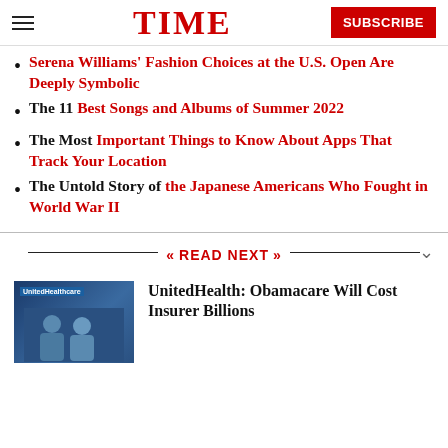TIME | SUBSCRIBE
Serena Williams' Fashion Choices at the U.S. Open Are Deeply Symbolic
The 11 Best Songs and Albums of Summer 2022
The Most Important Things to Know About Apps That Track Your Location
The Untold Story of the Japanese Americans Who Fought in World War II
READ NEXT
UnitedHealth: Obamacare Will Cost Insurer Billions